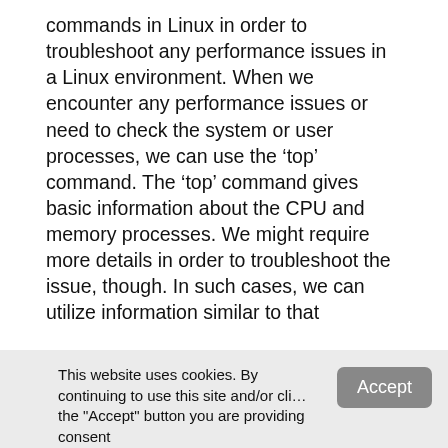commands in Linux in order to troubleshoot any performance issues in a Linux environment. When we encounter any performance issues or need to check the system or user processes, we can use the 'top' command. The 'top' command gives basic information about the CPU and memory processes. We might require more details in order to troubleshoot the issue, though. In such cases, we can utilize information similar to that
This website uses cookies. By continuing to use this site and/or clicking the "Accept" button you are providing consent
Quest Software and its affiliates do NOT sell the Personal Data you provide to us either when you register on our websites or when you do business with us. For more information about our Privacy Policy and our data protection efforts, please visit GDPR-HQ